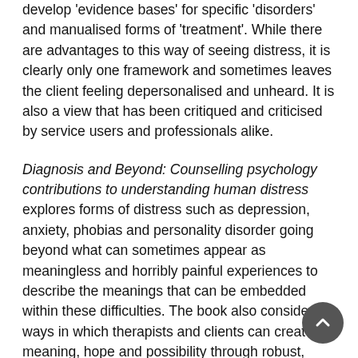develop 'evidence bases' for specific 'disorders' and manualised forms of 'treatment'. While there are advantages to this way of seeing distress, it is clearly only one framework and sometimes leaves the client feeling depersonalised and unheard. It is also a view that has been critiqued and criticised by service users and professionals alike.
Diagnosis and Beyond: Counselling psychology contributions to understanding human distress explores forms of distress such as depression, anxiety, phobias and personality disorder going beyond what can sometimes appear as meaningless and horribly painful experiences to describe the meanings that can be embedded within these difficulties. The book also considers ways in which therapists and clients can create meaning, hope and possibility through robust, relational therapeutic processes. By recognising the universality of human